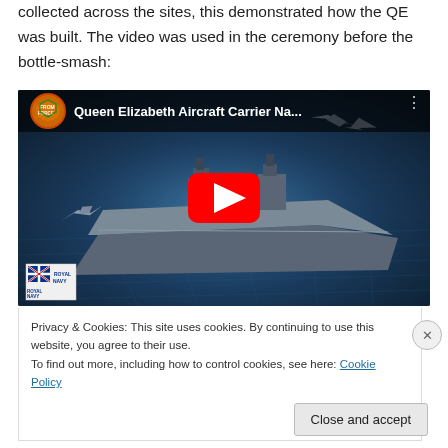collected across the sites, this demonstrated how the QE was built. The video was used in the ceremony before the bottle-smash:
[Figure (screenshot): YouTube video embed thumbnail showing Queen Elizabeth Aircraft Carrier named 'Queen Elizabeth Aircraft Carrier Na...' with a CGI rendering of the aircraft carrier with fighter jets, Royal Navy logo at bottom left, and a red YouTube play button in the center.]
Privacy & Cookies: This site uses cookies. By continuing to use this website, you agree to their use.
To find out more, including how to control cookies, see here: Cookie Policy